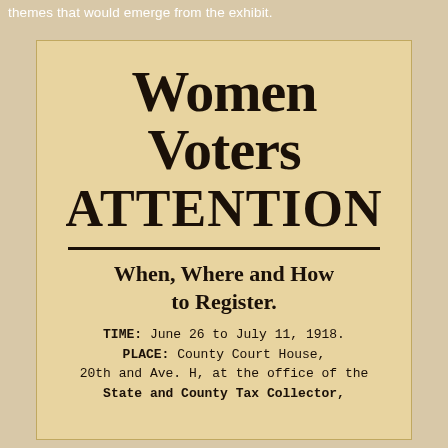themes that would emerge from the exhibit.
[Figure (photo): A historical flyer on aged beige paper with bold text: 'Women Voters ATTENTION — When, Where and How to Register. TIME: June 26 to July 11, 1918. PLACE: County Court House, 20th and Ave. H, at the office of the State and County Tax Collector,']